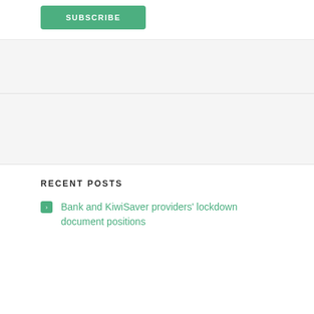SUBSCRIBE
RECENT POSTS
Bank and KiwiSaver providers' lockdown document positions